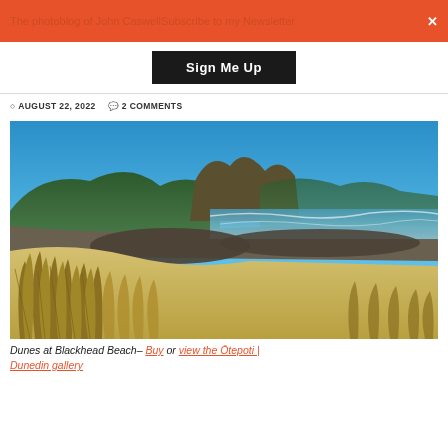The photoblog of John CaswellSubscribe to my Newsletter
Sign Me Up
AUGUST 22, 2022   2 COMMENTS
[Figure (photo): Coastal dunes at Blackhead Beach with golden marram grass in the foreground, rocky beach and ocean in the mid-ground, green hills and a prominent rocky headland in the background under a clear blue sky.]
Dunes at Blackhead Beach– Buy or view the Ōtepoti | Dunedin gallery